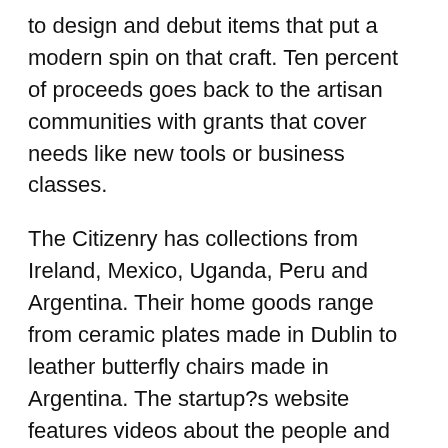to design and debut items that put a modern spin on that craft. Ten percent of proceeds goes back to the artisan communities with grants that cover needs like new tools or business classes.
The Citizenry has collections from Ireland, Mexico, Uganda, Peru and Argentina. Their home goods range from ceramic plates made in Dublin to leather butterfly chairs made in Argentina. The startup?s website features videos about the people and stories behind each item.
Q: Tell me about how you got started. How do you know one another?
Rachel: We met the very beginning of freshman year at